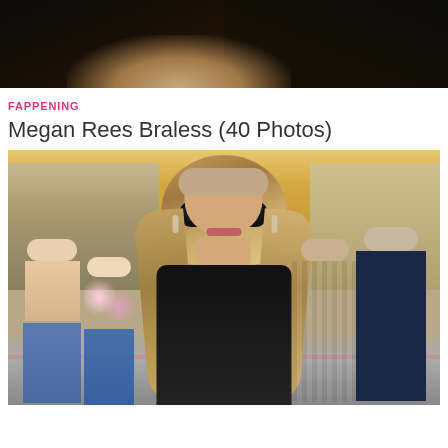[Figure (photo): Cropped photo showing a close-up of dark-toned legs/skin against a black background, partially visible at top of page]
FAPPENING
Megan Rees Braless (40 Photos)
[Figure (photo): Photo of a woman with long highlighted brown hair wearing large black sunglasses and a black strapless top, walking on a busy street. Crowd of people visible in the background including women in casual summer clothes and men in dark and yellow jackets.]